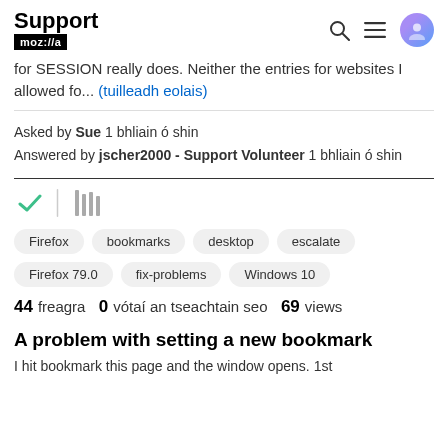Support moz://a
for SESSION really does. Neither the entries for websites I allowed fo... (tuilleadh eolais)
Asked by Sue 1 bhliain ó shin
Answered by jscher2000 - Support Volunteer 1 bhliain ó shin
[Figure (other): Checkmark icon and library/stack icon]
Firefox
bookmarks
desktop
escalate
Firefox 79.0
fix-problems
Windows 10
44 freagra  0 vótaí an tseachtain seo  69 views
A problem with setting a new bookmark
I hit bookmark this page and the window opens. 1st